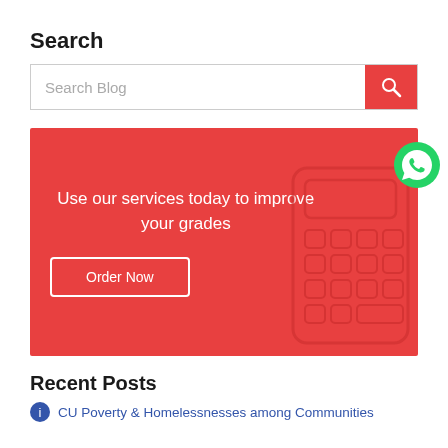Search
[Figure (screenshot): Search bar with text 'Search Blog' and a red search button with a magnifying glass icon]
[Figure (infographic): Red banner with white text 'Use our services today to improve your grades', an 'Order Now' button with white border, a WhatsApp icon in the top right, and a calculator outline graphic on the right side]
Recent Posts
CU Poverty & Homelessnesses among Communities